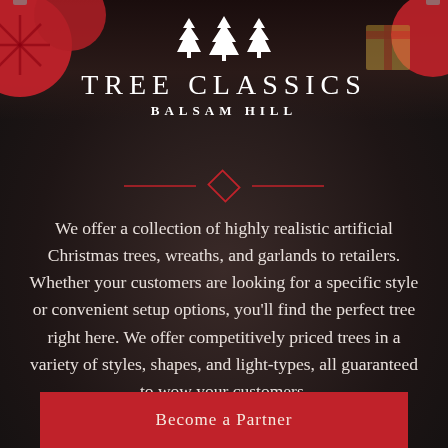[Figure (logo): Tree Classics by Balsam Hill logo with white pine tree silhouettes above the brand name on dark background]
[Figure (illustration): Red decorative diamond divider with horizontal lines on either side]
We offer a collection of highly realistic artificial Christmas trees, wreaths, and garlands to retailers. Whether your customers are looking for a specific style or convenient setup options, you'll find the perfect tree right here. We offer competitively priced trees in a variety of styles, shapes, and light-types, all guaranteed to wow your customers.
Become a Partner